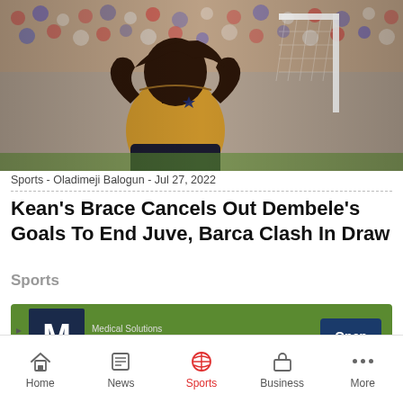[Figure (photo): A soccer player wearing a golden/yellow jersey with hands raised to face, appearing distressed. Crowd visible in background along with a goalpost.]
Sports - Oladimeji Balogun - Jul 27, 2022
Kean's Brace Cancels Out Dembele's Goals To End Juve, Barca Clash In Draw
Sports
[Figure (screenshot): Advertisement banner for Medical Solutions - Fastest Apply Process with an Open button]
Home  News  Sports  Business  More